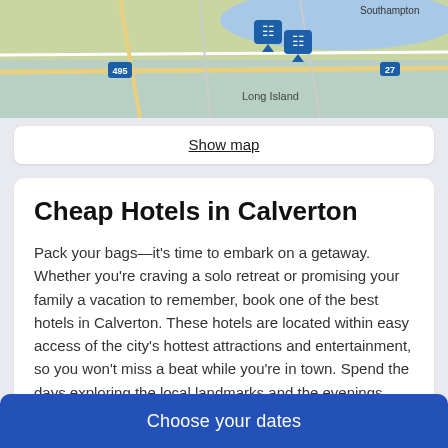[Figure (map): Map showing Long Island area with hotel markers near Long Island, with Southampton visible in the upper right, highway markers including 495 and 27]
Show map
Cheap Hotels in Calverton
Pack your bags—it's time to embark on a getaway. Whether you're craving a solo retreat or promising your family a vacation to remember, book one of the best hotels in Calverton. These hotels are located within easy access of the city's hottest attractions and entertainment, so you won't miss a beat while you're in town. Spend the days exploring the local landmarks and the evenings getting to know the nightlife. After exploring the city from top to bottom, rest up at a hotel that speaks to you. Find the perfect place that matches your trip's vibe, from a trendy boutique to family-friendly accommodations.
Allow us here at Travelocity to pair you with up Calverton hotels that suit your vacation preferences. Discover places with
Choose your dates